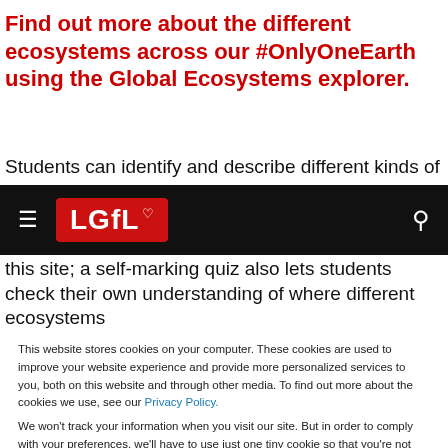Find out more about the different ecosystems across our #OnlyOneEarth using the Global Ecosystems explorer.
Students can identify and describe different kinds of
[Figure (logo): LGfL website navigation bar with black background, LGfL red logo with heart, hamburger menu icon on left, search icon on right]
this site; a self-marking quiz also lets students check their own understanding of where different ecosystems
This website stores cookies on your computer. These cookies are used to improve your website experience and provide more personalized services to you, both on this website and through other media. To find out more about the cookies we use, see our Privacy Policy.

We won't track your information when you visit our site. But in order to comply with your preferences, we'll have to use just one tiny cookie so that you're not asked to make this choice again.
Accept | Decline